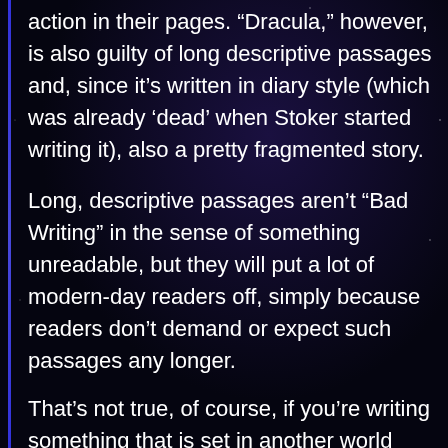action in their pages. “Dracula,” however, is also guilty of long descriptive passages and, since it’s written in diary style (which was already ‘dead’ when Stoker started writing it), also a pretty fragmented story.
Long, descriptive passages aren’t “Bad Writing” in the sense of something unreadable, but they will put a lot of modern-day readers off, simply because readers don’t demand or expect such passages any longer.
That’s not true, of course, if you’re writing something that is set in another world (Sci-Fi and Fantasy come to mind). In this case, you have to describe surroundings and objects much better, because they can’t just be googled.